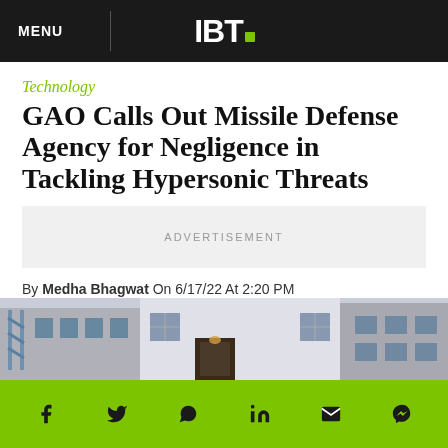MENU  IBT.
Technology
GAO Calls Out Missile Defense Agency for Negligence in Tackling Hypersonic Threats
ADVERTISEMENT
By Medha Bhagwat On 6/17/22 At 2:20 PM
[Figure (photo): Exterior photograph of a building facade with doors, windows, and structural elements visible]
Social share icons: Facebook, Twitter, WhatsApp, LinkedIn, Email, Messenger